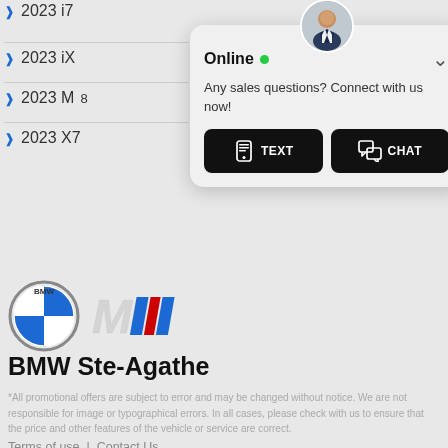2023 i7
2023 iX
2023 M8
2023 X7
[Figure (screenshot): Online chat popup with avatar, green dot Online status, message 'Any sales questions? Connect with us now!' and TEXT and CHAT buttons]
[Figure (logo): BMW logo circle and M-stripe logo]
BMW Ste-Agathe
*All promotional offers are subject to error and may be changed without notice. We are not responsible for image or typographical errors. In all cases, please check with us to ensure that the price and other features of the vehicle or service are correct.
Terms of use  |  Contact Us
Copyrights © 2022 BMW Ste-Agathe | Proudly powered by NERDAUTO